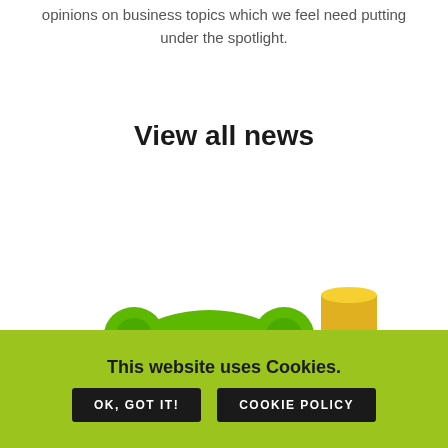opinions on business topics which we feel need putting under the spotlight.
View all news
[Figure (photo): A green piggy bank wearing black glasses with stacks of gold coins beside it]
This website uses Cookies.
OK, GOT IT!
COOKIE POLICY